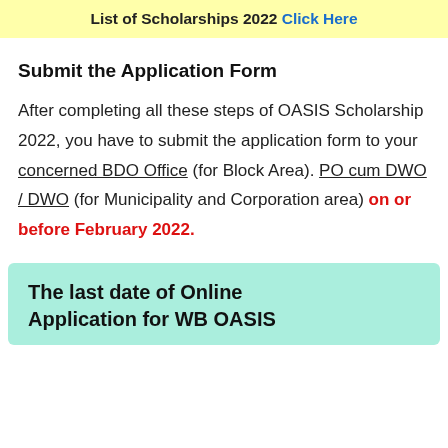List of Scholarships 2022 Click Here
Submit the Application Form
After completing all these steps of OASIS Scholarship 2022, you have to submit the application form to your concerned BDO Office (for Block Area). PO cum DWO / DWO (for Municipality and Corporation area) on or before February 2022.
The last date of Online Application for WB OASIS